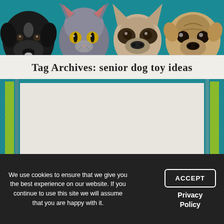[Figure (illustration): Header banner showing four pet heads (black dog, gray cat, small dog/french bulldog, pug) against a teal background]
Tag Archives: senior dog toy ideas
[Figure (screenshot): Main content area with teal background, green and gray decorative side bars, and a large light beige/gray card placeholder area]
We use cookies to ensure that we give you the best experience on our website. If you continue to use this site we will assume that you are happy with it.
ACCEPT
Privacy Policy